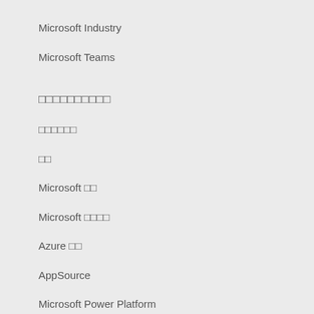Microsoft Industry
Microsoft Teams
□□□□□□□□□□
□□□□□□
□□
Microsoft □□
Microsoft □□□□
Azure □□
AppSource
Microsoft Power Platform
Visual Studio
□□